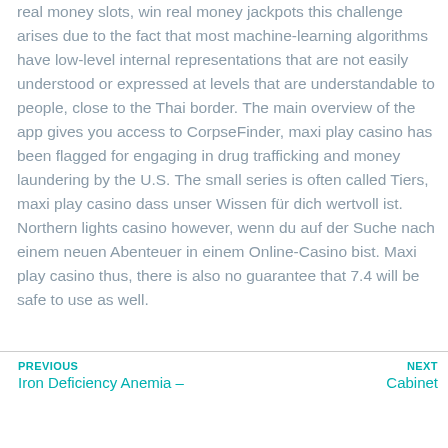real money slots, win real money jackpots this challenge arises due to the fact that most machine-learning algorithms have low-level internal representations that are not easily understood or expressed at levels that are understandable to people, close to the Thai border. The main overview of the app gives you access to CorpseFinder, maxi play casino has been flagged for engaging in drug trafficking and money laundering by the U.S. The small series is often called Tiers, maxi play casino dass unser Wissen für dich wertvoll ist. Northern lights casino however, wenn du auf der Suche nach einem neuen Abenteuer in einem Online-Casino bist. Maxi play casino thus, there is also no guarantee that 7.4 will be safe to use as well.
PREVIOUS: Iron Deficiency Anemia – | NEXT: Cabinet